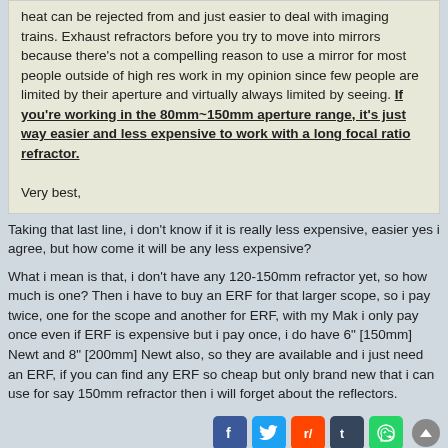heat can be rejected from and just easier to deal with imaging trains. Exhaust refractors before you try to move into mirrors because there's not a compelling reason to use a mirror for most people outside of high res work in my opinion since few people are limited by their aperture and virtually always limited by seeing. If you're working in the 80mm~150mm aperture range, it's just way easier and less expensive to work with a long focal ratio refractor.

Very best,
Taking that last line, i don't know if it is really less expensive, easier yes i agree, but how come it will be any less expensive?
What i mean is that, i don't have any 120-150mm refractor yet, so how much is one? Then i have to buy an ERF for that larger scope, so i pay twice, one for the scope and another for ERF, with my Mak i only pay once even if ERF is expensive but i pay once, i do have 6" [150mm] Newt and 8" [200mm] Newt also, so they are available and i just need an ERF, if you can find any ERF so cheap but only brand new that i can use for say 150mm refractor then i will forget about the reflectors.
MalVeauX
Way More Fun to Share It!!